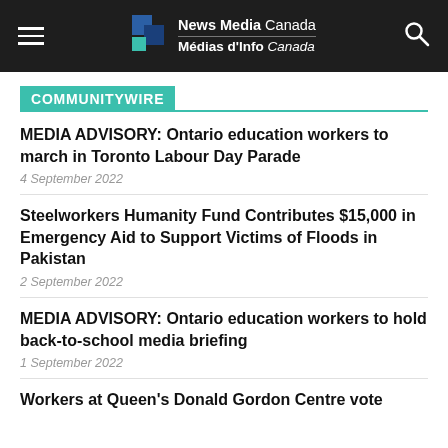News Media Canada / Médias d'Info Canada
COMMUNITYWIRE
MEDIA ADVISORY: Ontario education workers to march in Toronto Labour Day Parade
4 September 2022
Steelworkers Humanity Fund Contributes $15,000 in Emergency Aid to Support Victims of Floods in Pakistan
2 September 2022
MEDIA ADVISORY: Ontario education workers to hold back-to-school media briefing
1 September 2022
Workers at Queen's Donald Gordon Centre vote